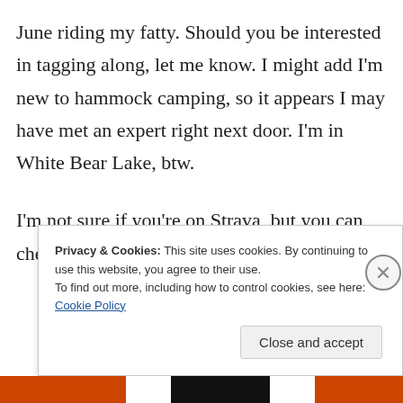June riding my fatty. Should you be interested in tagging along, let me know. I might add I'm new to hammock camping, so it appears I may have met an expert right next door. I'm in White Bear Lake, btw.
I'm not sure if you're on Strava, but you can check out my bicycle antics there.
Privacy & Cookies: This site uses cookies. By continuing to use this website, you agree to their use. To find out more, including how to control cookies, see here: Cookie Policy